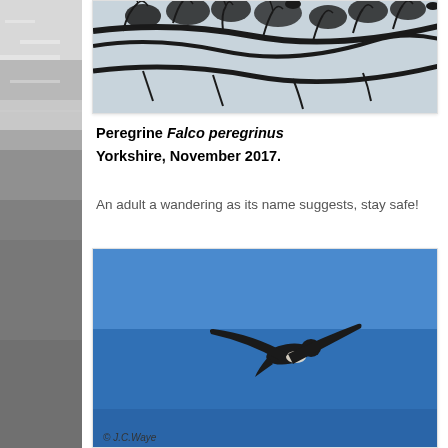[Figure (photo): Photo of bare winter tree branches silhouetted against a pale blue-grey sky, with dark bird shapes perched among the branches.]
Peregrine Falco peregrinus Yorkshire, November 2017.
An adult a wandering as its name suggests, stay safe!
[Figure (photo): Photo of a Peregrine falcon in flight against a clear blue sky, wings swept back, with a photographer credit © J.C.Waye at the bottom.]